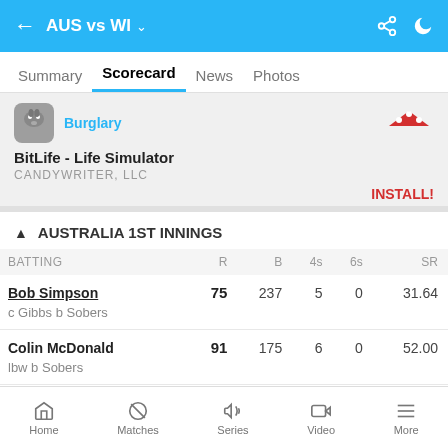AUS vs WI
Summary  Scorecard  News  Photos
[Figure (screenshot): Advertisement banner for BitLife - Life Simulator app by CANDYWRITER, LLC with an install button]
AUSTRALIA 1ST INNINGS
| BATTING | R | B | 4s | 6s | SR |
| --- | --- | --- | --- | --- | --- |
| Bob Simpson
c Gibbs b Sobers | 75 | 237 | 5 | 0 | 31.64 |
| Colin McDonald
lbw b Sobers | 91 | 175 | 6 | 0 | 52.00 |
Home  Matches  Series  Video  More